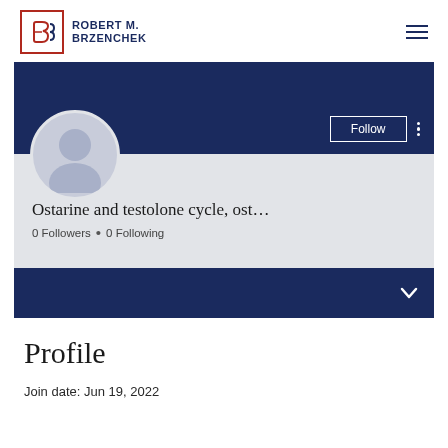ROBERT M. BRZENCHEK
[Figure (screenshot): User profile card with dark blue banner, gray avatar placeholder, Follow button, and dark blue bottom bar with chevron]
Ostarine and testolone cycle, ost…
0 Followers • 0 Following
Profile
Join date: Jun 19, 2022